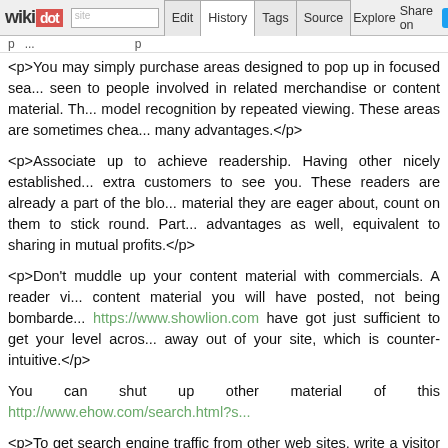wikidot | site | Edit | History | Tags | Source | Explore | Share on [Twitter]
<p>You may simply purchase areas designed to pop up in focused sea... seen to people involved in related merchandise or content material. Th... model recognition by repeated viewing. These areas are sometimes chea... many advantages.</p>
<p>Associate up to achieve readership. Having other nicely established... extra customers to see you. These readers are already a part of the blo... material they are eager about, count on them to stick round. Part... advantages as well, equivalent to sharing in mutual profits.</p>
<p>Don't muddle up your content material with commercials. A reader vi... content material you will have posted, not being bombarde... https://www.showlion.com have got just sufficient to get your level acros... away out of your site, which is counter-intuitive.</p>
You can shut up other material of this http://www.ehow.com/search.html?s...
<p>To get search engine traffic from other web sites, write a visitor post.... can link back to your site each time you contribute. If a web site has a h... through their site can significantly increase your individual web page rank...</p>
<p>Deliver your customer to you. Use your web site to publish occ... workshops, coaching, or simply store-only sales. Getting a buyer into y... from you, and providing this info in your site can enhance the amount of p...</p>
<p>In case your web advertising and marketing strategies are exactly th... seem boring and you will lose potential prospects. http://www.ehow.co... several techniques to ensure that your site doesn't turn into each different...